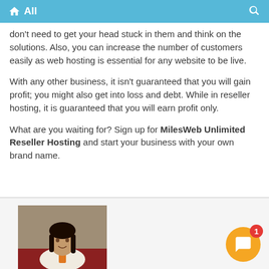All
don't need to get your head stuck in them and think on the solutions. Also, you can increase the number of customers easily as web hosting is essential for any website to be live.
With any other business, it isn't guaranteed that you will gain profit; you might also get into loss and debt. While in reseller hosting, it is guaranteed that you will earn profit only.
What are you waiting for? Sign up for MilesWeb Unlimited Reseller Hosting and start your business with your own brand name.
[Figure (photo): Profile photo of a young woman with long dark hair, sitting indoors against a red/maroon background with a textured wall behind her.]